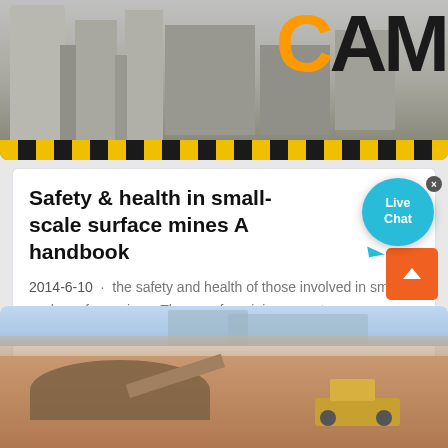[Figure (photo): Industrial mining plant with silos, pipes, and factory equipment. CAM logo visible on right side. Yellow and black hazard stripes at bottom.]
Safety & health in small-scale surface mines A handbook
2014-6-10 · the safety and health of those involved in small-scale surface mines. They are for mining operators, supervisors and…
[Figure (photo): Open-pit quarry/surface mine with heavy machinery (bulldozer/loader) moving material, red/orange soil visible, buildings in background.]